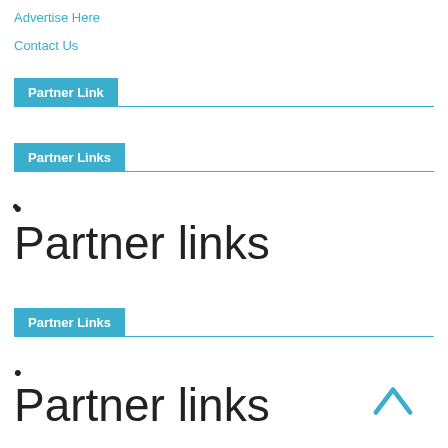Advertise Here
Contact Us
Partner Link
Partner Links
•
Partner links
Partner Links
•
Partner links